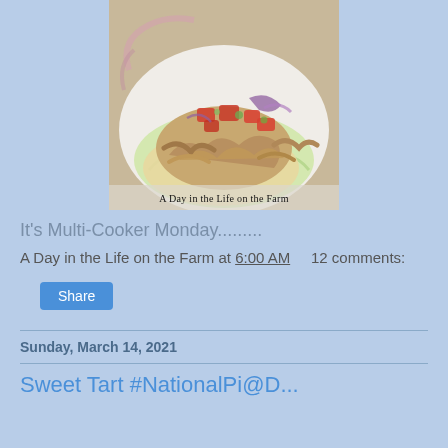[Figure (photo): A chicken taco on a flour tortilla with shredded chicken, diced tomatoes, red onion, and lettuce, served on a white plate with a floral pattern. Watermark text reads 'A Day in the Life on the Farm'.]
It's Multi-Cooker Monday.........
A Day in the Life on the Farm at 6:00 AM    12 comments:
Share
Sunday, March 14, 2021
Sweet Tart #NationalPi@D...